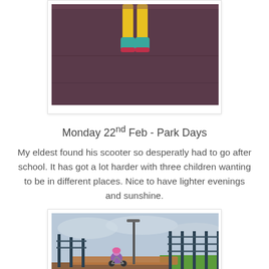[Figure (photo): Top portion of a photo showing a child in a yellow outfit with teal/turquoise boots standing on top of a dark purple/maroon wall, legs visible from about knee down, viewed from below.]
Monday 22nd Feb - Park Days
My eldest found his scooter so desperatly had to go after school. It has got a lot harder with three children wanting to be in different places. Nice to have lighter evenings and sunshine.
[Figure (photo): A child on a bicycle/scooter on a ramp at a park, with metal fencing, a lamp post, and green grass visible in the background under a cloudy sky.]